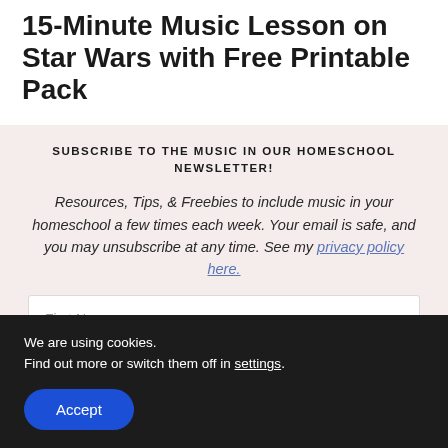15-Minute Music Lesson on Star Wars with Free Printable Pack
SUBSCRIBE TO THE MUSIC IN OUR HOMESCHOOL NEWSLETTER!
Resources, Tips, & Freebies to include music in your homeschool a few times each week. Your email is safe, and you may unsubscribe at any time. See my privacy policy here.
First Name
We are using cookies.
Find out more or switch them off in settings.
Accept